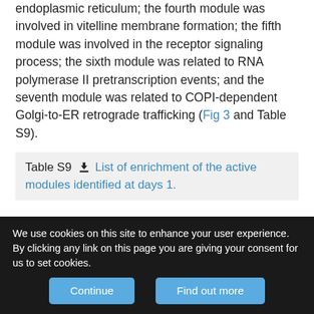endoplasmic reticulum; the fourth module was involved in vitelline membrane formation; the fifth module was involved in the receptor signaling process; the sixth module was related to RNA polymerase II pretranscription events; and the seventh module was related to COPI-dependent Golgi-to-ER retrograde trafficking (Fig 3 and Table S9).
Table S9 [download icon] List of enrichment of the active modules identified at days 1.
At day 4, we retrieved a large module (module 1 of Fig 4) containing overexpressed genes linked to rRNA processing and ribosome biogenesis. We found 37 other active modules enriched in genes with implied functions investigated in other studies, such as changes in the immune response
We use cookies on this site to enhance your user experience. By clicking any link on this page you are giving your consent for us to set cookies.